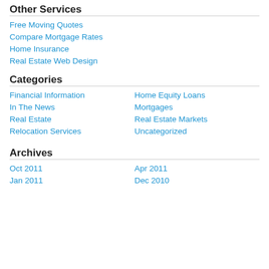Other Services
Free Moving Quotes
Compare Mortgage Rates
Home Insurance
Real Estate Web Design
Categories
Financial Information
Home Equity Loans
In The News
Mortgages
Real Estate
Real Estate Markets
Relocation Services
Uncategorized
Archives
Oct 2011
Apr 2011
Jan 2011
Dec 2010